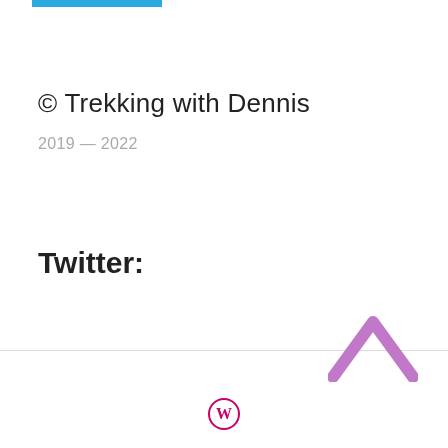[Figure (other): Cyan/blue horizontal bar at top left]
© Trekking with Dennis
2019 — 2022
Twitter:
[Figure (other): Pink/mauve upward chevron arrow at bottom right]
[Figure (logo): WordPress logo (circle W) in pink/magenta at page bottom center]